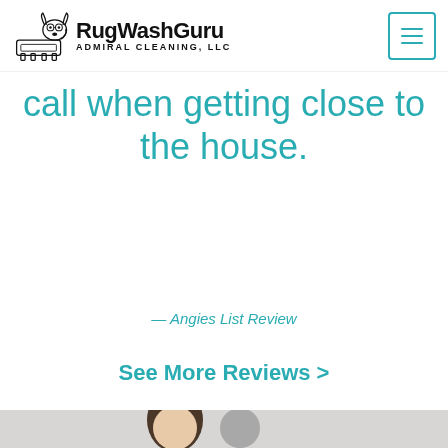[Figure (logo): RugWashGuru Admiral Cleaning LLC logo with cartoon dog illustration and hamburger menu button]
call when getting close to the house.
— Angies List Review
See More Reviews >
[Figure (photo): Partial photo of two people at the bottom of the page, cropped]